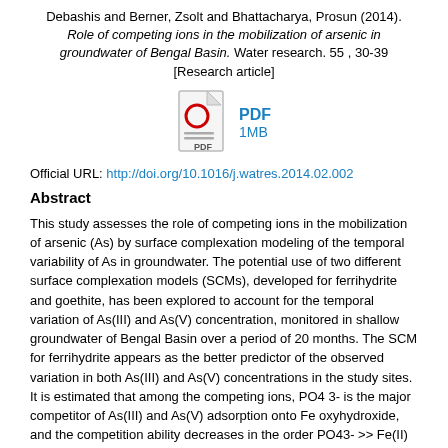Debashis and Berner, Zsolt and Bhattacharya, Prosun (2014). Role of competing ions in the mobilization of arsenic in groundwater of Bengal Basin. Water research. 55 , 30-39 [Research article]
[Figure (other): PDF file icon with red circle and 'PDF' label at the bottom]
PDF 1MB
Official URL: http://doi.org/10.1016/j.watres.2014.02.002
Abstract
This study assesses the role of competing ions in the mobilization of arsenic (As) by surface complexation modeling of the temporal variability of As in groundwater. The potential use of two different surface complexation models (SCMs), developed for ferrihydrite and goethite, has been explored to account for the temporal variation of As(III) and As(V) concentration, monitored in shallow groundwater of Bengal Basin over a period of 20 months. The SCM for ferrihydrite appears as the better predictor of the observed variation in both As(III) and As(V) concentrations in the study sites. It is estimated that among the competing ions, PO4 3- is the major competitor of As(III) and As(V) adsorption onto Fe oxyhydroxide, and the competition ability decreases in the order PO43- >> Fe(II) > H4SiO4 = HCO- (3.) It is further revealed that a small change in pH can also have a significant effect on